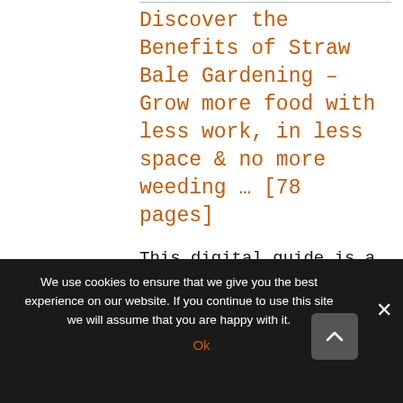Discover the Benefits of Straw Bale Gardening – Grow more food with less work, in less space & no more weeding … [78 pages]
This digital guide is a simple,
We use cookies to ensure that we give you the best experience on our website. If you continue to use this site we will assume that you are happy with it.
Ok